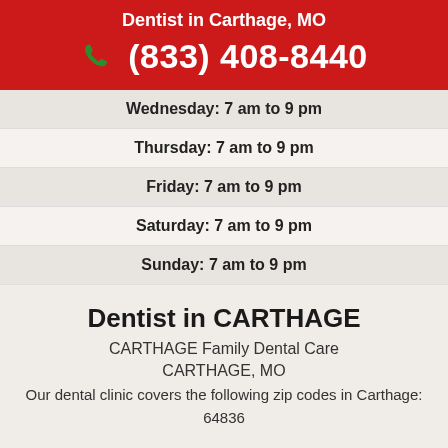Dentist in Carthage, MO
(833) 408-8440
Wednesday: 7 am to 9 pm
Thursday: 7 am to 9 pm
Friday: 7 am to 9 pm
Saturday: 7 am to 9 pm
Sunday: 7 am to 9 pm
Dentist in CARTHAGE
CARTHAGE Family Dental Care
CARTHAGE, MO
Our dental clinic covers the following zip codes in Carthage:
64836